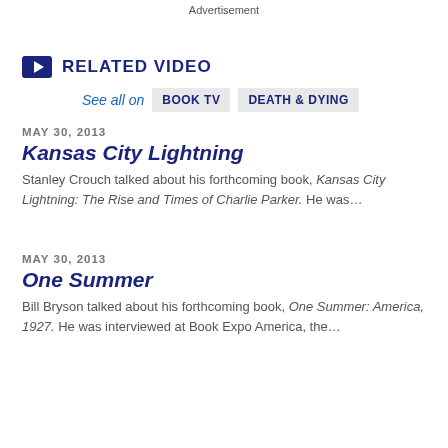Advertisement
RELATED VIDEO
See all on  BOOK TV  DEATH & DYING
MAY 30, 2013
Kansas City Lightning
Stanley Crouch talked about his forthcoming book, Kansas City Lightning: The Rise and Times of Charlie Parker. He was...
MAY 30, 2013
One Summer
Bill Bryson talked about his forthcoming book, One Summer: America, 1927. He was interviewed at Book Expo America, the...